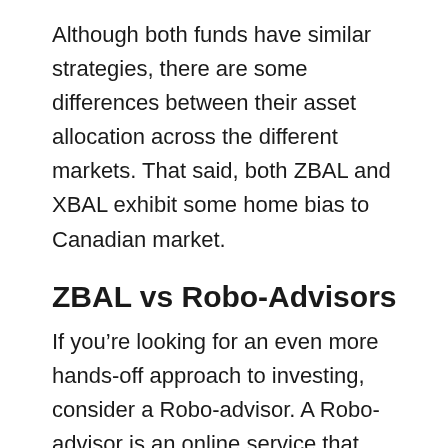Although both funds have similar strategies, there are some differences between their asset allocation across the different markets. That said, both ZBAL and XBAL exhibit some home bias to Canadian market.
ZBAL vs Robo-Advisors
If you're looking for an even more hands-off approach to investing, consider a Robo-advisor. A Robo-advisor is an online service that manages your investments for you for a relatively low fee.